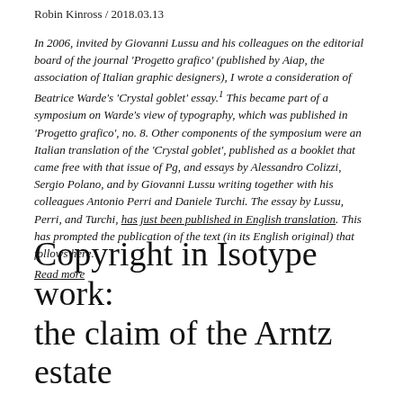Robin Kinross / 2018.03.13
In 2006, invited by Giovanni Lussu and his colleagues on the editorial board of the journal 'Progetto grafico' (published by Aiap, the association of Italian graphic designers), I wrote a consideration of Beatrice Warde's 'Crystal goblet' essay.¹ This became part of a symposium on Warde's view of typography, which was published in 'Progetto grafico', no. 8. Other components of the symposium were an Italian translation of the 'Crystal goblet', published as a booklet that came free with that issue of Pg, and essays by Alessandro Colizzi, Sergio Polano, and by Giovanni Lussu writing together with his colleagues Antonio Perri and Daniele Turchi. The essay by Lussu, Perri, and Turchi, has just been published in English translation. This has prompted the publication of the text (in its English original) that follows here. Read more
Copyright in Isotype work: the claim of the Arntz estate